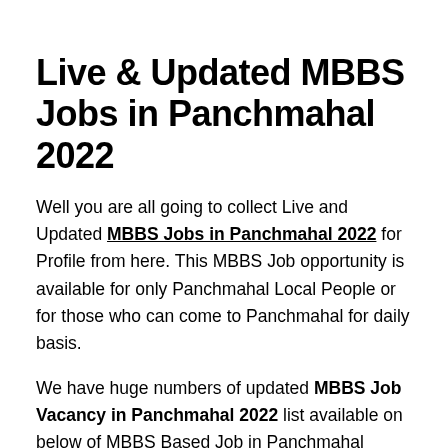Live & Updated MBBS Jobs in Panchmahal 2022
Well you are all going to collect Live and Updated MBBS Jobs in Panchmahal 2022 for Profile from here. This MBBS Job opportunity is available for only Panchmahal Local People or for those who can come to Panchmahal for daily basis.
We have huge numbers of updated MBBS Job Vacancy in Panchmahal 2022 list available on below of MBBS Based Job in Panchmahal page. Mostly MBBS Passed posts are for Multi National Companies in Panchmahal Area who are looking for the upcoming MBBS candidates.